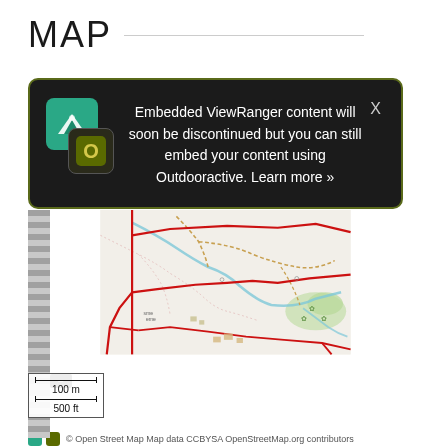MAP
[Figure (screenshot): ViewRanger embedded map notice overlay on a road map background showing a walking route in red. A dark popup states 'Embedded ViewRanger content will soon be discontinued but you can still embed your content using Outdooractive. Learn more »' with ViewRanger and Outdooractive icons. The underlying map shows roads, paths, a blue stream, and green areas around Wood House Lane.]
© Open Street Map Map data CCBYSA OpenStreetMap.org contributors